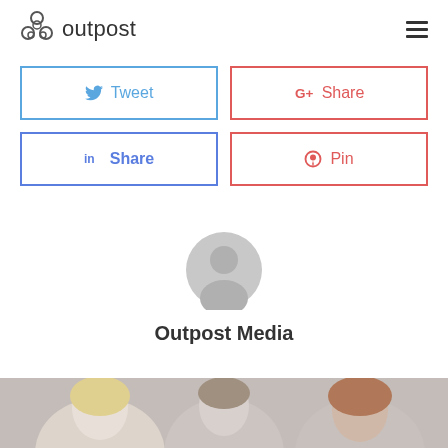[Figure (logo): Outpost logo with circular honeycomb icon and text 'outpost']
Tweet (Twitter share button)
G+ Share (Google Plus share button)
in Share (LinkedIn share button)
Pin (Pinterest pin button)
[Figure (illustration): Generic user avatar icon — grey circle with person silhouette]
Outpost Media
[Figure (photo): Photo strip showing three people with different hair colors (blonde, brown short, auburn)]